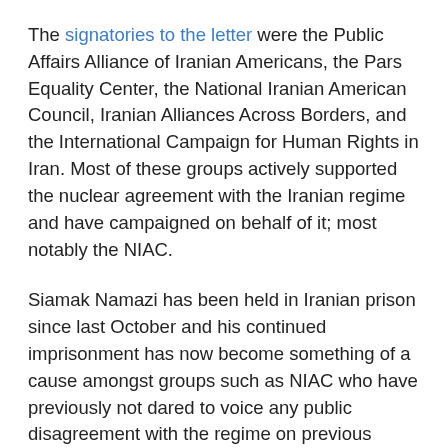The signatories to the letter were the Public Affairs Alliance of Iranian Americans, the Pars Equality Center, the National Iranian American Council, Iranian Alliances Across Borders, and the International Campaign for Human Rights in Iran. Most of these groups actively supported the nuclear agreement with the Iranian regime and have campaigned on behalf of it; most notably the NIAC.
Siamak Namazi has been held in Iranian prison since last October and his continued imprisonment has now become something of a cause amongst groups such as NIAC who have previously not dared to voice any public disagreement with the regime on previous occasions, including the imprisonment of other